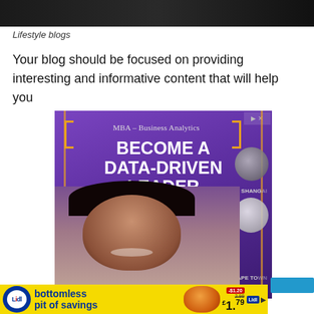[Figure (photo): Dark-toned photograph at top of page, cropped]
Lifestyle blogs
Your blog should be focused on providing interesting and informative content that will help you
[Figure (infographic): MBA – Business Analytics advertisement: 'BECOME A DATA-DRIVEN LEADER' with a smiling woman and globe icons, orange bracket decoration, purple background]
[Figure (infographic): Lidl advertisement: 'bottomless pit of savings' with fruit image and price 1.79, yellow background with Lidl logo]